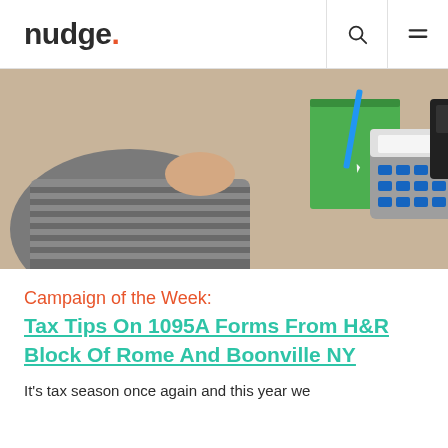nudge.
[Figure (photo): Overhead view of a person's hands working at a desk with a calculator, pen, and green-covered document or booklet visible.]
Campaign of the Week:
Tax Tips On 1095A Forms From H&R Block Of Rome And Boonville NY
It's tax season once again and this year we